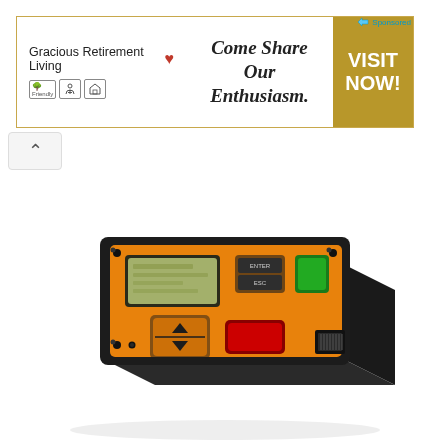[Figure (screenshot): Advertisement banner for Gracious Retirement Living with tagline 'Come Share Our Enthusiasm.' and a gold 'VISIT NOW!' call-to-action button. Includes small accessibility and housing icons. Sponsored link indicator in top right.]
[Figure (photo): Product photo of an orange and black electronic control panel/module device with an LCD display, ENTER and ESC buttons, up/down arrow navigation buttons, green and red indicator/control buttons, and an RJ45 or similar port on the front face. The device has a black plastic housing and appears to be a panel-mount controller unit.]